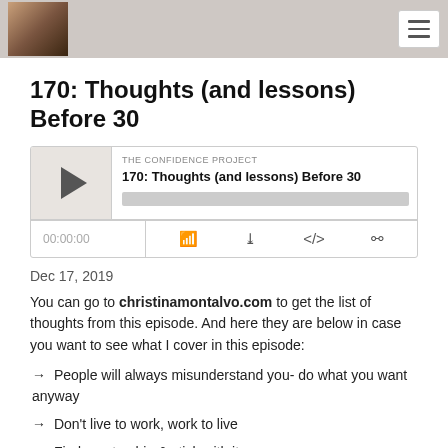THE CONFIDENCE PROJECT
170: Thoughts (and lessons) Before 30
[Figure (screenshot): Podcast player widget showing episode '170: Thoughts (and lessons) Before 30' from The Confidence Project, with play button, progress bar, time display 00:00:00, and control icons for RSS, download, embed, and share.]
Dec 17, 2019
You can go to christinamontalvo.com to get the list of thoughts from this episode. And here they are below in case you want to see what I cover in this episode:
→ People will always misunderstand you- do what you want anyway
→ Don't live to work, work to live
→ Find mentorship & stick with it